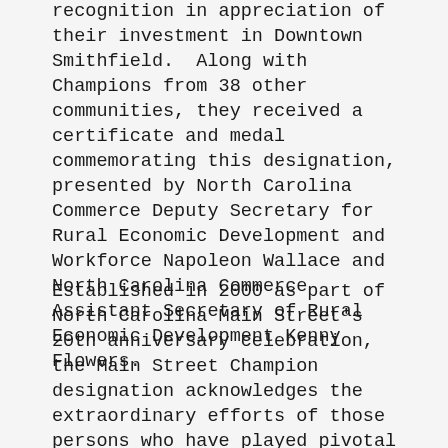recognition in appreciation of their investment in Downtown Smithfield.  Along with Champions from 38 other communities, they received a certificate and medal commemorating this designation, presented by North Carolina Commerce Deputy Secretary for Rural Economic Development and Workforce Napoleon Wallace and North Carolina Commerce Assistant Secretary of Rural Economic Development Kenny Flowers.
Established in 2000 as part of North Carolina Main Street's 20th anniversary celebration, the Main Street Champion designation acknowledges the extraordinary efforts of those persons who have played pivotal roles in the revitalization of their downtowns. The dedication and hard work of countless volunteers is required to make a local Main Street program successful. Each of the state's active Main Street programs is given the